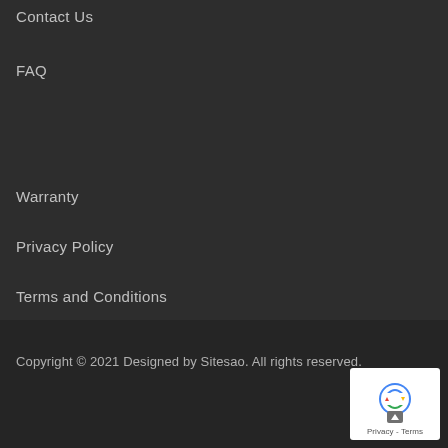Contact Us
FAQ
Warranty
Privacy Policy
Terms and Conditions
Copyright © 2021 Designed by Sitesao. All rights reserved.